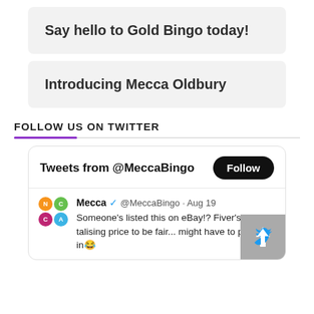Say hello to Gold Bingo today!
Introducing Mecca Oldbury
FOLLOW US ON TWITTER
[Figure (screenshot): Twitter widget showing Tweets from @MeccaBingo with a Follow button, and a tweet from Mecca @MeccaBingo dated Aug 19 saying: Someone's listed this on eBay!? Fiver's a tan-talising price to be fair... might have to put a bid in 😂]